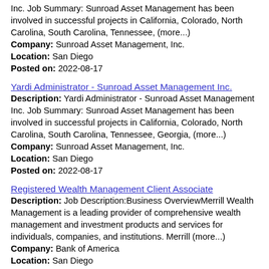Inc. Job Summary: Sunroad Asset Management has been involved in successful projects in California, Colorado, North Carolina, South Carolina, Tennessee, (more...) Company: Sunroad Asset Management, Inc. Location: San Diego Posted on: 2022-08-17
Yardi Administrator - Sunroad Asset Management Inc.
Description: Yardi Administrator - Sunroad Asset Management Inc. Job Summary: Sunroad Asset Management has been involved in successful projects in California, Colorado, North Carolina, South Carolina, Tennessee, Georgia, (more...) Company: Sunroad Asset Management, Inc. Location: San Diego Posted on: 2022-08-17
Registered Wealth Management Client Associate
Description: Job Description:Business OverviewMerrill Wealth Management is a leading provider of comprehensive wealth management and investment products and services for individuals, companies, and institutions. Merrill (more...) Company: Bank of America Location: San Diego Posted on: 2022-08-17
Director, Change Management
Description: Business Title: Director, Change Management br br ...